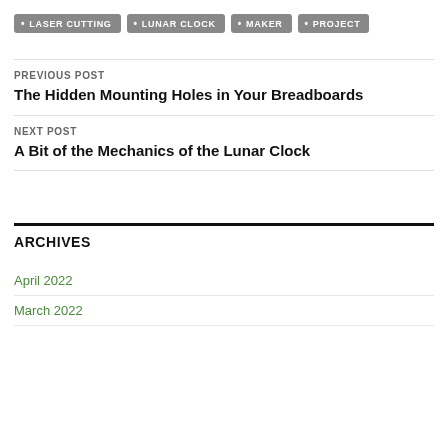• LASER CUTTING
• LUNAR CLOCK
• MAKER
• PROJECT
PREVIOUS POST
The Hidden Mounting Holes in Your Breadboards
NEXT POST
A Bit of the Mechanics of the Lunar Clock
ARCHIVES
April 2022
March 2022